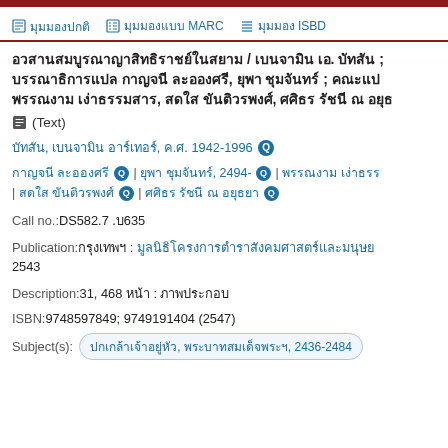มุมมองปกติ | มุมมองแบบ MARC | มุมมอง ISBD
อวสานสมบูรณาญาสิทธิราชย์ในสยาม / เบนจามิน เอ. บัทสัน ; บรรณาธิการแปล กาญจนี ละอองศรี, ยุพา ชุมจันทร์ ; คณะแป พรรณงาม เง่าธรรมสาร, สดใส ขันติวรพงศ์, ศศิธร รัชนี ณ อยุธ
(Text)
บัทสัน, เบนจามิน อาร์เทอร์, ค.ศ. 1942-1996 🔍
กาญจนี ละอองศรี 🔍 | ยุพา ชุมจันทร์, 2494- 🔍 | พรรณงาม เง่าธรร | สดใส ขันติวรพงศ์ 🔍 | ศศิธร รัชนี ณ อยุธยา 🔍
Call no.:DS582.7 .บ635
Publication:กรุงเทพฯ : มูลนิธิโครงการตำราสังคมศาสตร์และมนุษย 2543
Description:31, 468 หน้า : ภาพประกอบ
ISBN:9748597849; 9749191404 (2547)
Subject(s): ปกเกล้าเจ้าอยู่หัว, พระบาทสมเด็จพระฯ, 2436-2484